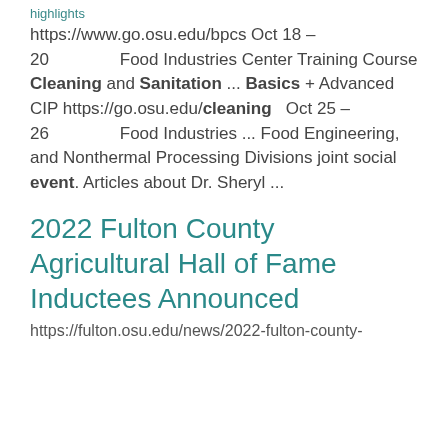highlights
https://www.go.osu.edu/bpcs Oct 18 – 20        Food Industries Center Training Course Cleaning and Sanitation ... Basics + Advanced CIP https://go.osu.edu/cleaning   Oct 25 – 26                Food Industries ... Food Engineering, and Nonthermal Processing Divisions joint social event. Articles about Dr. Sheryl ...
2022 Fulton County Agricultural Hall of Fame Inductees Announced
https://fulton.osu.edu/news/2022-fulton-county-